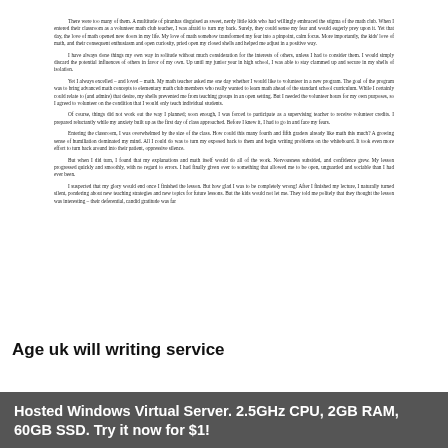There were too many of them. A multitude of piranhas disguised as sweet, nerdy little kids who had willingly embraced the stigma of the math club. When I entered their classroom as a volunteer math club teacher, I was afraid to turn my back. Surely, they could sense my fear and would eagerly prey upon it. Yet that day, the love of math opened new doors in my life. My love of math somehow transformed my fear into a pinpoint, calm focus. More importantly, the kids' love of math, and their consequent enthusiasm and open curiosity, pried open my closed shells and helped me adjust in a positive way.
I have always done things my own way in solitude without much consideration for the interests of others, unless I had to consider them. I would simply discard the potential influences of others in favor of my own. Up until my junior year in high school, I was able to stay clammed up and secure in my shells of isolation.
Yet I always excelled – and loved – math. My math teacher asked me one day whether I would like to volunteer in a new program. The goal of the program was to bring advanced math concepts to elementary math club members who really wanted to learn math ahead of the standard school curriculum. While I certainly could relate to (and admire) that desire, my shells prevented me from teaching groups in an open setting. But I needed the volunteer hours for my own purposes, so I agreed to volunteer on the condition that I would only teach individual students.
Of course, things did not work out the way I planned; soon enough, I was forced to participate as a supervising teacher to receive volunteer credits. I prepared reluctantly while my anxiety built up as the first day of class approached. Before I knew it, I had to go in and face my fears.
Entering the classroom, I was overwhelmed by the size of the class. How could this many fourth and fifth graders already like math this much? A growing sense of humiliation dominated my mind. All I could do was to turn my exposed back to them and begin writing problems on the whiteboard. It took even more effort to turn back around into their patient, oppressive silence.
But when I did turn, I found that my explanations and math itself would do all of the work. Nervousness subsided, and confidence grew. My lesson progressed quickly and smoothly, with no regard to errors. I had finally given over to something that allowed me to be open, unguarded and sociable than I had ever been.
I suspected that my glory would end once I finished the lesson. But how glad I was to be completely wrong! After I finished my lecture, I naturally turned silent, pondering about new teaching strategies and new topics for future lessons. But the kids would not let me. They told me politely that they thought the lesson was interesting – their deferential, candid gratitude was far
Age uk will writing service
Hosted Windows Virtual Server. 2.5GHz CPU, 2GB RAM, 60GB SSD. Try it now for $1!